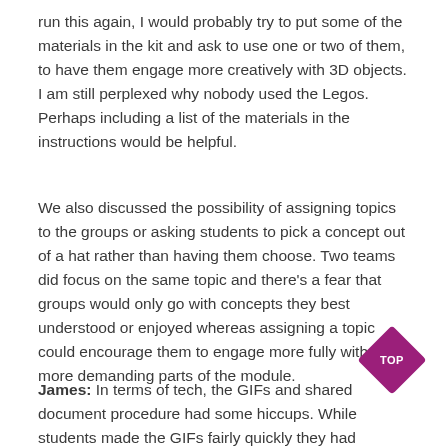run this again, I would probably try to put some of the materials in the kit and ask to use one or two of them, to have them engage more creatively with 3D objects. I am still perplexed why nobody used the Legos. Perhaps including a list of the materials in the instructions would be helpful.
We also discussed the possibility of assigning topics to the groups or asking students to pick a concept out of a hat rather than having them choose. Two teams did focus on the same topic and there's a fear that groups would only go with concepts they best understood or enjoyed whereas assigning a topic could encourage them to engage more fully with the more demanding parts of the module.
James: In terms of tech, the GIFs and shared document procedure had some hiccups. While students made the GIFs fairly quickly they had